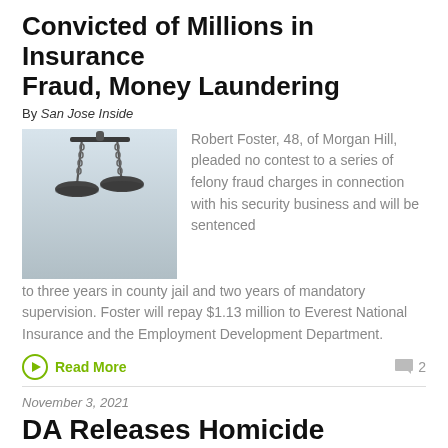Convicted of Millions in Insurance Fraud, Money Laundering
By San Jose Inside
[Figure (photo): Photo of balance/scales of justice hanging against a light background]
Robert Foster, 48, of Morgan Hill, pleaded no contest to a series of felony fraud charges in connection with his security business and will be sentenced to three years in county jail and two years of mandatory supervision. Foster will repay $1.13 million to Everest National Insurance and the Employment Development Department.
Read More
2
November 3, 2021
DA Releases Homicide Suspect in Gilroy Shooting, Declines to File Charges
By Michael Moore